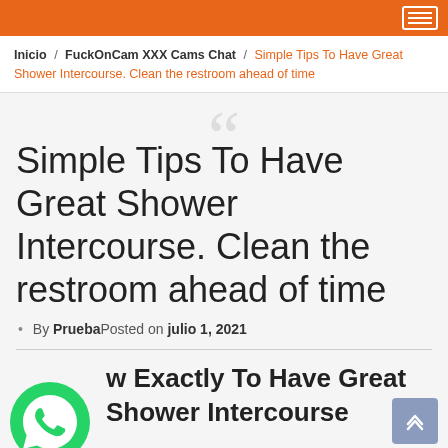Orange navigation bar
Inicio / FuckOnCam XXX Cams Chat / Simple Tips To Have Great Shower Intercourse. Clean the restroom ahead of time
Simple Tips To Have Great Shower Intercourse. Clean the restroom ahead of time
By Prueba Posted on julio 1, 2021
How Exactly To Have Great Shower Intercourse